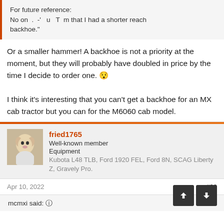For future reference:
No one would believe u, Tom, that I had a shorter reach backhoe."
Or a smaller hammer! A backhoe is not a priority at the moment, but they will probably have doubled in price by the time I decide to order one. 😯

I think it's interesting that you can't get a backhoe for an MX cab tractor but you can for the M6060 cab model.
fried1765
Well-known member
Equipment
Kubota L48 TLB, Ford 1920 FEL, Ford 8N, SCAG Liberty Z, Gravely Pro.
Apr 10, 2022   #38
mcmxi said: